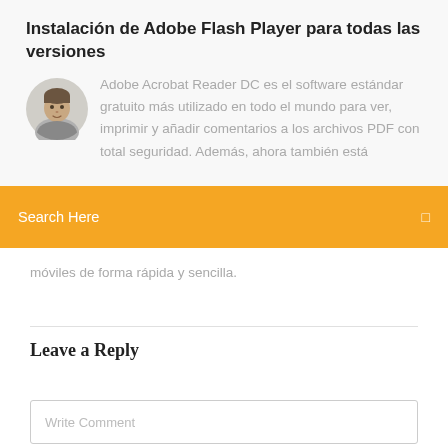Instalación de Adobe Flash Player para todas las versiones
[Figure (photo): Round avatar photo of a man, circular crop]
Adobe Acrobat Reader DC es el software estándar gratuito más utilizado en todo el mundo para ver, imprimir y añadir comentarios a los archivos PDF con total seguridad. Además, ahora también está
Search Here
móviles de forma rápida y sencilla.
Leave a Reply
Write Comment